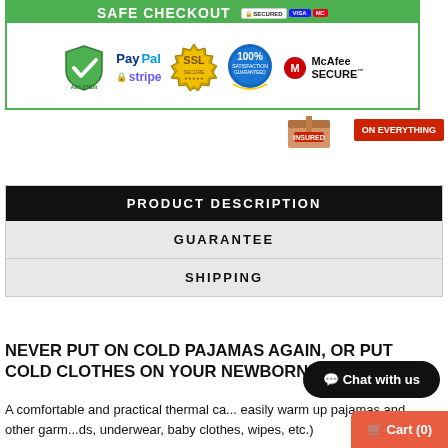[Figure (infographic): Safe checkout banner with PayPal, Stripe, SSL, 100% Satisfaction Guarantee, and McAfee Secure badges inside a green-bordered box. Payment card icons (Visa, Mastercard, etc.) shown at top right.]
[Figure (infographic): Insured shipping badge showing a box with 'INSURED' label and 'ON EVERYTHING' text on red background.]
PRODUCT DESCRIPTION
GUARANTEE
SHIPPING
NEVER PUT ON COLD PAJAMAS AGAIN, OR PUT COLD CLOTHES ON YOUR NEWBORN!
A comfortable and practical thermal ca... easily warm up pajamas and other garments (ds, underwear, baby clothes, wipes, etc.)